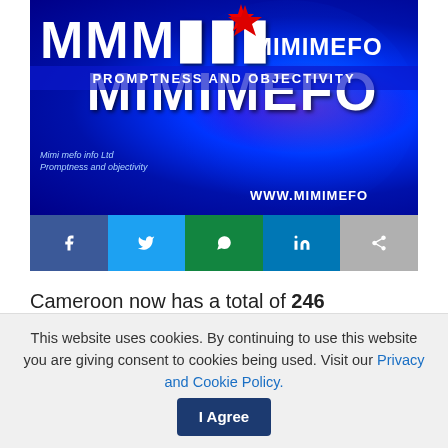[Figure (logo): Mimimefo news website banner with blue globe background, white bold M letters, star, tagline PROMPTNESS AND OBJECTIVITY, and URL www.mimimefo]
[Figure (infographic): Social media share buttons: Facebook, Twitter, WhatsApp, LinkedIn, Share]
Cameroon now has a total of 246 coronavirus cases. According to official figures from the ministry of public health, the country has recorded 13 new cases, 6 deaths and 10 recoveries so far. Officials have
This website uses cookies. By continuing to use this website you are giving consent to cookies being used. Visit our Privacy and Cookie Policy.  I Agree